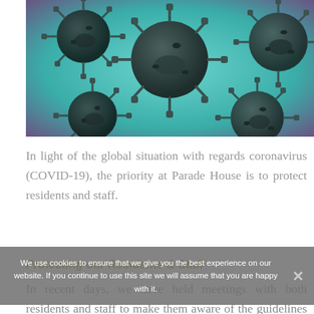[Figure (photo): 3D illustration of coronavirus (COVID-19) particles on a teal/turquoise background with purple tones. Multiple spherical virus particles with spike proteins are shown.]
In light of the global situation with regards coronavirus (COVID-19), the priority at Parade House is to protect residents and staff.
Protecting our Residents & Staff
In recent days, we have held meetings with both residents and staff to make them aware of the guidelines that have been issued by the
We use cookies to ensure that we give you the best experience on our website. If you continue to use this site we will assume that you are happy with it.